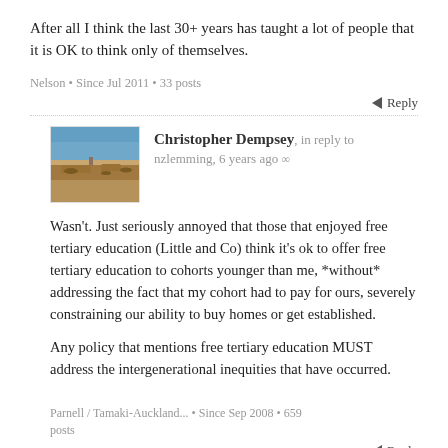After all I think the last 30+ years has taught a lot of people that it is OK to think only of themselves.
Nelson • Since Jul 2011 • 33 posts
Reply
Christopher Dempsey, in reply to nzlemming, 6 years ago ∞
[Figure (photo): Avatar photo of Christopher Dempsey showing a desert landscape with blue sky]
Wasn't. Just seriously annoyed that those that enjoyed free tertiary education (Little and Co) think it's ok to offer free tertiary education to cohorts younger than me, *without* addressing the fact that my cohort had to pay for ours, severely constraining our ability to buy homes or get established.

Any policy that mentions free tertiary education MUST address the intergenerational inequities that have occurred.
Parnell / Tamaki-Auckland... • Since Sep 2008 • 659 posts
Reply